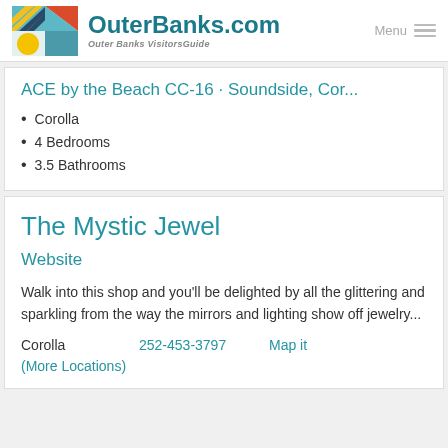OuterBanks.com Visitors Guide — Menu
ACE by the Beach CC-16 · Soundside, Cor...
Corolla
4 Bedrooms
3.5 Bathrooms
The Mystic Jewel
Website
Walk into this shop and you'll be delighted by all the glittering and sparkling from the way the mirrors and lighting show off jewelry...
Corolla   252-453-3797   Map it
(More Locations)